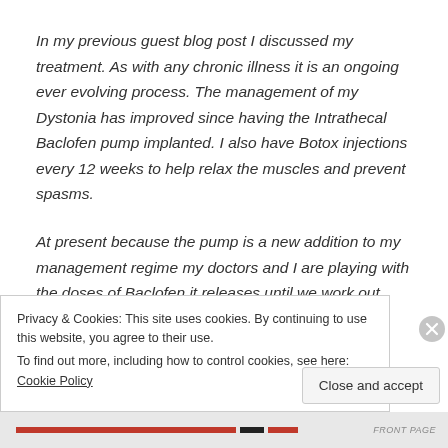In my previous guest blog post I discussed my treatment. As with any chronic illness it is an ongoing ever evolving process. The management of my Dystonia has improved since having the Intrathecal Baclofen pump implanted. I also have Botox injections every 12 weeks to help relax the muscles and prevent spasms.
At present because the pump is a new addition to my management regime my doctors and I are playing with the doses of Baclofen it releases until we work out which dose
Privacy & Cookies: This site uses cookies. By continuing to use this website, you agree to their use.
To find out more, including how to control cookies, see here: Cookie Policy
Close and accept